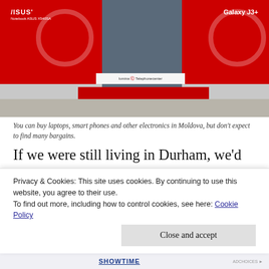[Figure (photo): Storefront of an electronics store in Moldova with red ASUS and Samsung Galaxy J3+ banners on the windows, showing a glass door entrance with a red mat.]
You can buy laptops, smart phones and other electronics in Moldova, but don’t expect to find many bargains.
If we were still living in Durham, we’d have utility and cell phone bills, medical insurance premiums, car insurance, grocery bills and everything else. Here in Moldova, my only recurring monthly bills are for a New York Times online subscription and iCloud storage to back up our laptops. We hope to leave our retirement savings...
Privacy & Cookies: This site uses cookies. By continuing to use this website, you agree to their use.
To find out more, including how to control cookies, see here: Cookie Policy
Close and accept